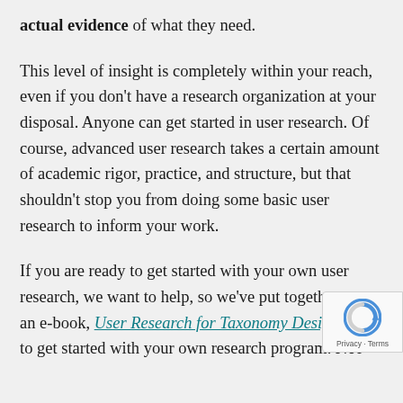actual evidence of what they need.
This level of insight is completely within your reach, even if you don't have a research organization at your disposal. Anyone can get started in user research. Of course, advanced user research takes a certain amount of academic rigor, practice, and structure, but that shouldn't stop you from doing some basic user research to inform your work.
If you are ready to get started with your own user research, we want to help, so we've put together an e-book, User Research for Taxonomy Design. U… to get started with your own research program. Not